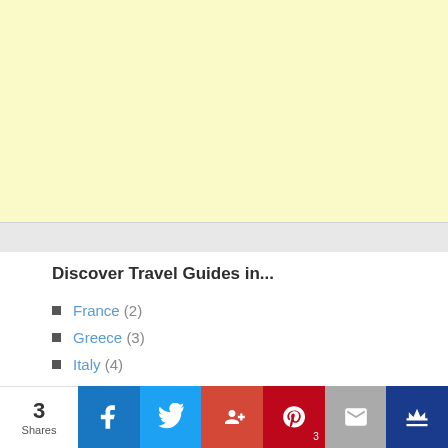[Figure (other): Light yellow advertisement banner placeholder]
Discover Travel Guides in...
France (2)
Greece (3)
Italy (4)
Japan (1)
3 Shares | Facebook | Twitter | G+ | Pinterest | Email | Crown